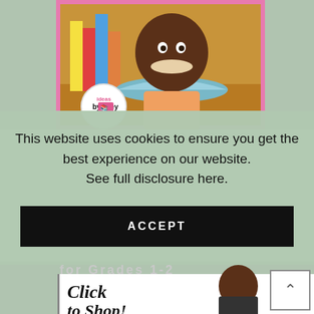[Figure (photo): Photo of a smiling child reading a book with colorful books in background, with 'Ideas by Jivey' logo circle overlay]
This website uses cookies to ensure you get the best experience on our website.
See full disclosure here.
ACCEPT
[Figure (photo): Bottom portion of an educational product image showing 'Click to Shop!' text with a person's photo, partially visible]